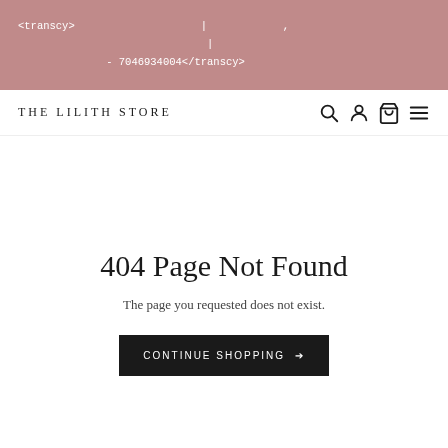<transcy> | , | - 7046934004</transcy>
THE LILITH STORE
404 Page Not Found
The page you requested does not exist.
CONTINUE SHOPPING →